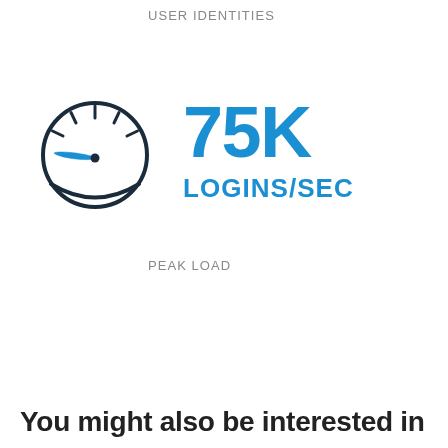USER IDENTITIES
[Figure (infographic): Speedometer/gauge icon in dark navy outline style with a blue needle, representing logins per second metric]
75K
LOGINS/SEC
PEAK LOAD
You might also be interested in